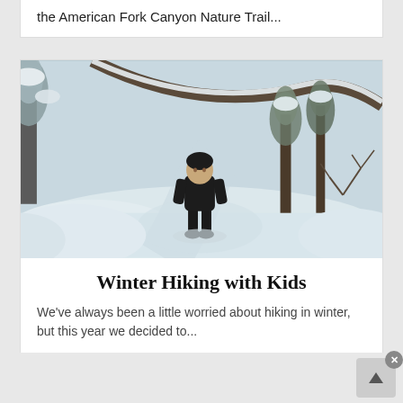the American Fork Canyon Nature Trail...
[Figure (photo): A child in a black snowsuit standing on a snowy trail surrounded by snow-covered trees and branches in winter.]
Winter Hiking with Kids
We've always been a little worried about hiking in winter, but this year we decided to...